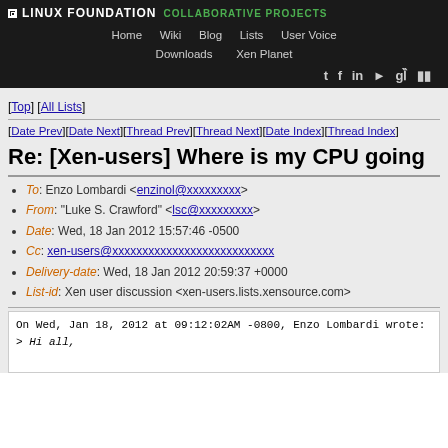LINUX FOUNDATION COLLABORATIVE PROJECTS
Home  Wiki  Blog  Lists  User Voice  Downloads  Xen Planet
[Top] [All Lists]
[Date Prev][Date Next][Thread Prev][Thread Next][Date Index][Thread Index]
Re: [Xen-users] Where is my CPU going
To: Enzo Lombardi <enzinol@xxxxxxxxx>
From: "Luke S. Crawford" <lsc@xxxxxxxxx>
Date: Wed, 18 Jan 2012 15:57:46 -0500
Cc: xen-users@xxxxxxxxxxxxxxxxxxxxxxxxxxx
Delivery-date: Wed, 18 Jan 2012 20:59:37 +0000
List-id: Xen user discussion <xen-users.lists.xensource.com>
On Wed, Jan 18, 2012 at 09:12:02AM -0800, Enzo Lombardi wrote:
> Hi all,